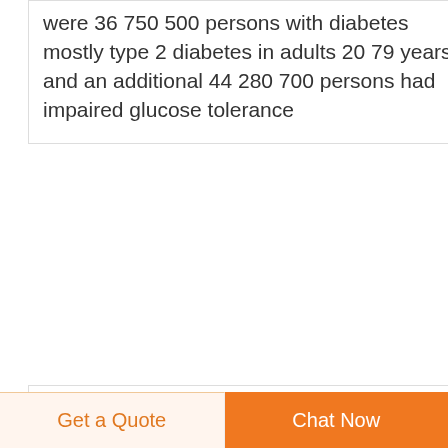were 36 750 500 persons with diabetes mostly type 2 diabetes in adults 20 79 years and an additional 44 280 700 persons had impaired glucose tolerance
View Ad American Bully Litter of Puppies for Sale near
american bully litter of puppies for sale in palmdale ca usa christmas puppies are here litter born october 26th ready for their new homes dec 25th
Get a Quote
Chat Now